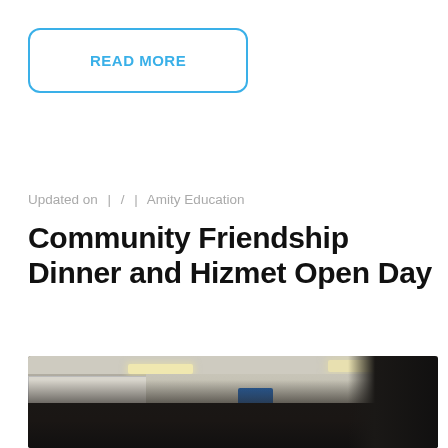READ MORE
Updated on  |  /  |  Amity Education
Community Friendship Dinner and Hizmet Open Day
[Figure (photo): Indoor room with people gathered, ceiling lights visible, whiteboard on left side, and a banner in the background. Silhouettes of people visible in the lower portion of the image.]